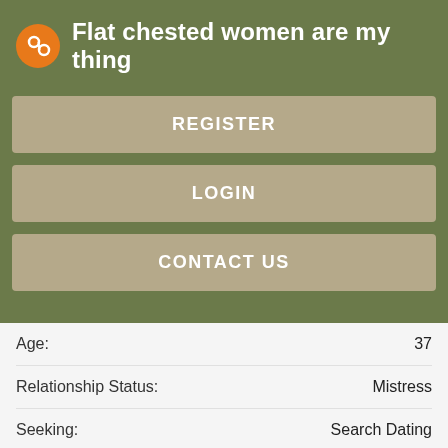Flat chested women are my thing
REGISTER
LOGIN
CONTACT US
| Field | Value |
| --- | --- |
| Age: | 37 |
| Relationship Status: | Mistress |
| Seeking: | Search Dating |
| City: | Dixon County, Swarthmore, Bernal Heights, Saint Henry |
| Hair: | Dyed black |